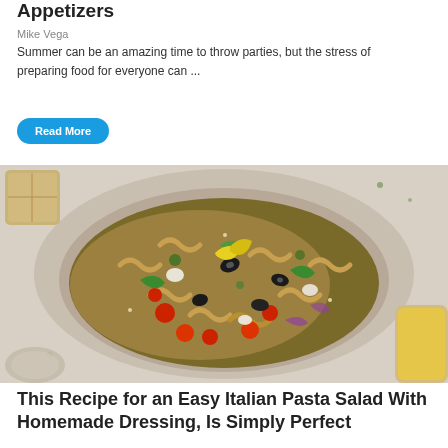Appetizers
Mike Vega
Summer can be an amazing time to throw parties, but the stress of preparing food for everyone can ...
Read More
[Figure (photo): Overhead shot of a bowl of Italian pasta salad with rotini pasta, cherry tomatoes, black olives, green peppers, red onion, mozzarella, and yellow pepperoncini, in a ceramic bowl on a light surface]
This Recipe for an Easy Italian Pasta Salad With Homemade Dressing, Is Simply Perfect